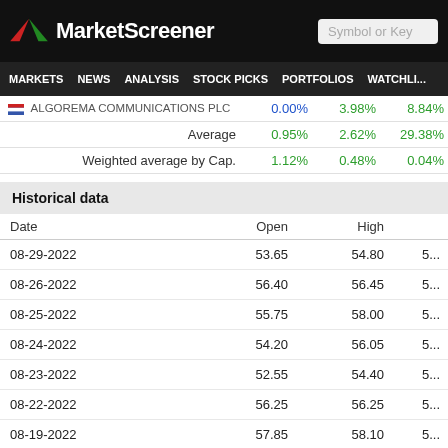MarketScreener | Symbol or Key
MARKETS NEWS ANALYSIS STOCK PICKS PORTFOLIOS WATCHLI...
|  |  |  |  |
| --- | --- | --- | --- |
| ALGOREMA COMMUNICATIONS PLC | 0.00% | 3.98% | 8.84% |
| Average | 0.95% | 2.62% | 29.38% |
| Weighted average by Cap. | 1.12% | 0.48% | 0.04% |
Historical data
| Date | Open | High |  |
| --- | --- | --- | --- |
| 08-29-2022 | 53.65 | 54.80 | 5... |
| 08-26-2022 | 56.40 | 56.45 | 5... |
| 08-25-2022 | 55.75 | 58.00 | 5... |
| 08-24-2022 | 54.20 | 56.05 | 5... |
| 08-23-2022 | 52.55 | 54.40 | 5... |
| 08-22-2022 | 56.25 | 56.25 | 5... |
| 08-19-2022 | 57.85 | 58.10 | 5... |